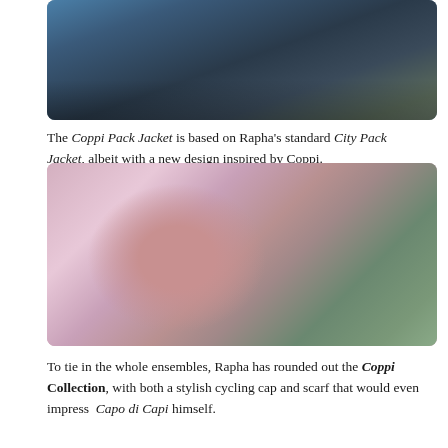[Figure (photo): Two cyclists riding, one in blue and one in dark jacket, outdoors on a road]
The Coppi Pack Jacket is based on Rapha's standard City Pack Jacket, albeit with a new design inspired by Coppi.
[Figure (photo): Close-up of a bearded man wearing a pink cycling cap and pink cycling jersey with Italian-flag collar detail, riding a bicycle outdoors]
To tie in the whole ensembles, Rapha has rounded out the Coppi Collection, with both a stylish cycling cap and scarf that would even impress Capo di Capi himself.